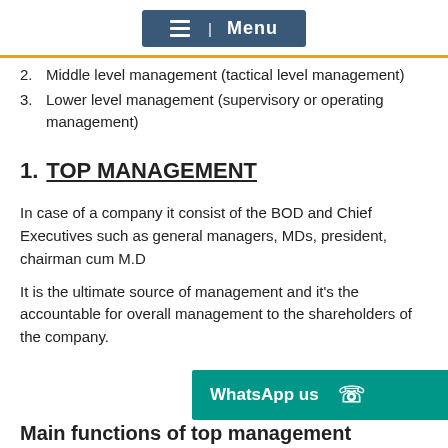Menu
2. Middle level management (tactical level management)
3. Lower level management (supervisory or operating management)
1.  TOP MANAGEMENT
In case of a company it consist of the BOD and Chief Executives such as general managers, MDs, president, chairman cum M.D
It is the ultimate source of management and it's the accountable for overall management to the shareholders of the company.
Main functions of top management